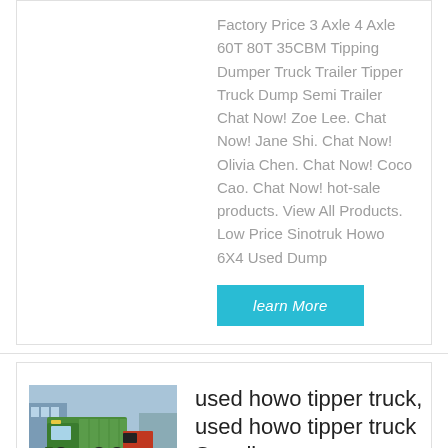Factory Price 3 Axle 4 Axle 60T 80T 35CBM Tipping Dumper Truck Trailer Tipper Truck Dump Semi Trailer Chat Now! Zoe Lee. Chat Now! Jane Shi. Chat Now! Olivia Chen. Chat Now! Coco Cao. Chat Now! hot-sale products. View All Products. Low Price Sinotruk Howo 6X4 Used Dump
[Figure (other): A cyan/turquoise 'learn More' button]
[Figure (photo): Photo of a green Howo tipper truck parked in a yard with other trucks and buildings in background]
used howo tipper truck, used howo tipper truck Suppliers